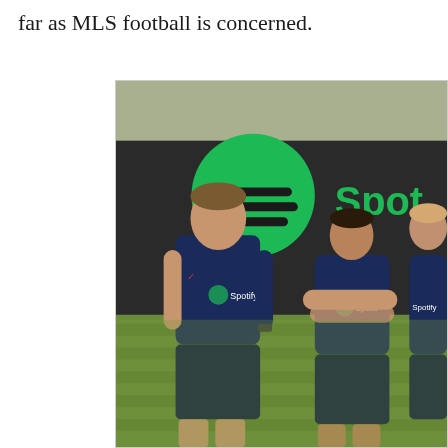far as MLS football is concerned.
[Figure (photo): Three men wearing FC Barcelona navy blue Spotify-sponsored training kit standing on a grass training pitch. A large Spotify logo is visible on the wall/hoarding behind them. The man on the left is stocky and looking to the side, the man in the middle has his arms crossed, and the man on the right stands upright. All are in dark navy shorts and short-sleeved tops.]